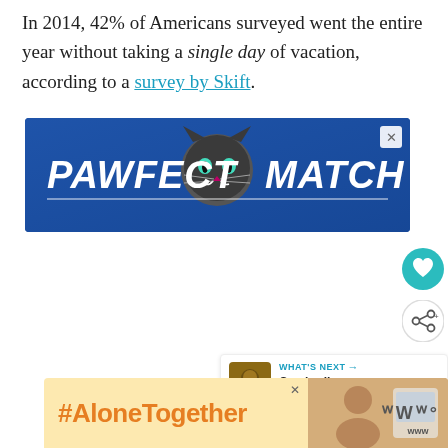In 2014, 42% of Americans surveyed went the entire year without taking a single day of vacation, according to a survey by Skift.
[Figure (screenshot): Advertisement banner for 'PAWFECT MATCH' — dark blue background with a cat face image in center and bold white italic text reading PAWFECT MATCH with a thin white underline]
[Figure (screenshot): Floating social sidebar with teal heart icon button and white share icon button]
[Figure (screenshot): WHAT'S NEXT panel showing a thumbnail and text 'Cambodia Travel Guide']
[Figure (screenshot): Advertisement banner with yellow/gold background showing '#AloneTogether' in large orange text, a photo of a person, and a logo with stylized 'W' characters]